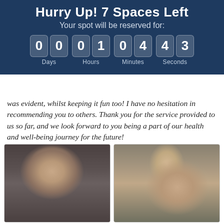Hurry Up! 7 Spaces Left
Your spot will be reserved for:
[Figure (other): Countdown timer showing 00 Days, 01 Hours, 04 Minutes, 43 Seconds]
was evident, whilst keeping it fun too! I have no hesitation in recommending you to others. Thank you for the service provided to us so far, and we look forward to you being a part of our health and well-being journey for the future!
Stevie Donnelly
[Figure (photo): Two side-by-side before/after photos of a man (Stevie Donnelly), left photo shows man taking selfie, right photo shows man with arm raised showing physique]